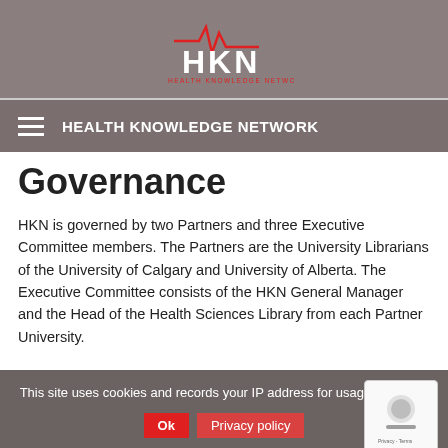[Figure (logo): HKN Health Knowledge Network logo with red ECG/heartbeat line above bold white HKN letters and smaller red text HEALTH KNOWLEDGE NETWORK below]
HEALTH KNOWLEDGE NETWORK
Governance
HKN is governed by two Partners and three Executive Committee members. The Partners are the University Librarians of the University of Calgary and University of Alberta. The Executive Committee consists of the HKN General Manager and the Head of the Health Sciences Library from each Partner University.
This site uses cookies and records your IP address for usage statistics.
Partners